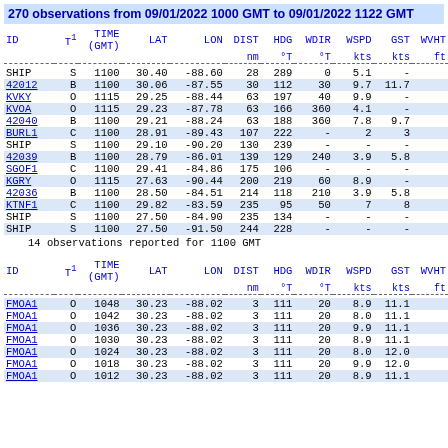270 observations from 09/01/2022 1000 GMT to 09/01/2022 1122 GMT
| ID | T1 | TIME (GMT) | LAT | LON | DIST nm | HDG °T | WDIR °T | WSPD kts | GST kts | WVHT ft |
| --- | --- | --- | --- | --- | --- | --- | --- | --- | --- | --- |
| SHIP | S | 1100 | 30.40 | -88.60 | 28 | 289 | 0 | 5.1 | - |  |
| 42012 | B | 1100 | 30.06 | -87.55 | 30 | 112 | 30 | 9.7 | 11.7 |  |
| KVKY | O | 1115 | 29.25 | -88.44 | 63 | 197 | 40 | 9.9 | - |  |
| KVOA | O | 1115 | 29.23 | -87.78 | 63 | 166 | 360 | 4.1 | - |  |
| 42040 | B | 1100 | 29.21 | -88.24 | 63 | 188 | 360 | 7.8 | 9.7 |  |
| BURL1 | C | 1100 | 28.91 | -89.43 | 107 | 222 | - | 2 | 3 |  |
| SHIP | S | 1100 | 29.10 | -90.20 | 130 | 239 | - | - | - |  |
| 42039 | B | 1100 | 28.79 | -86.01 | 139 | 129 | 240 | 3.9 | 5.8 |  |
| SGOF1 | C | 1100 | 29.41 | -84.86 | 175 | 106 | - | - | - |  |
| KGRY | O | 1115 | 27.63 | -90.44 | 200 | 219 | 60 | 8.9 | - |  |
| 42036 | B | 1100 | 28.50 | -84.51 | 214 | 118 | 210 | 3.9 | 5.8 |  |
| KTNF1 | C | 1100 | 29.82 | -83.59 | 235 | 95 | 50 | 7 | 8 |  |
| SHIP | S | 1100 | 27.50 | -84.90 | 235 | 134 | - | - | - |  |
| SHIP | S | 1100 | 27.50 | -91.50 | 244 | 228 | - | - | - |  |
14 observations reported for 1100 GMT
| ID | T1 | TIME (GMT) | LAT | LON | DIST nm | HDG °T | WDIR °T | WSPD kts | GST kts | WVHT ft |
| --- | --- | --- | --- | --- | --- | --- | --- | --- | --- | --- |
| FMOA1 | O | 1048 | 30.23 | -88.02 | 3 | 111 | 20 | 8.9 | 11.1 |  |
| FMOA1 | O | 1042 | 30.23 | -88.02 | 3 | 111 | 20 | 8.0 | 11.1 |  |
| FMOA1 | O | 1036 | 30.23 | -88.02 | 3 | 111 | 20 | 9.9 | 11.1 |  |
| FMOA1 | O | 1030 | 30.23 | -88.02 | 3 | 111 | 20 | 8.9 | 11.1 |  |
| FMOA1 | O | 1024 | 30.23 | -88.02 | 3 | 111 | 20 | 8.0 | 12.0 |  |
| FMOA1 | O | 1018 | 30.23 | -88.02 | 3 | 111 | 20 | 9.9 | 12.0 |  |
| FMOA1 | O | 1012 | 30.23 | -88.02 | 3 | 111 | 20 | 8.9 | 11.1 |  |